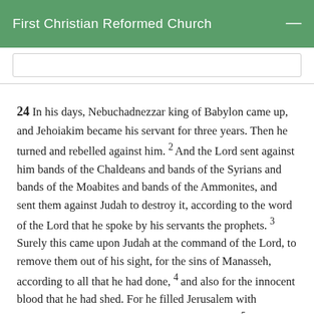First Christian Reformed Church
24 In his days, Nebuchadnezzar king of Babylon came up, and Jehoiakim became his servant for three years. Then he turned and rebelled against him. 2 And the Lord sent against him bands of the Chaldeans and bands of the Syrians and bands of the Moabites and bands of the Ammonites, and sent them against Judah to destroy it, according to the word of the Lord that he spoke by his servants the prophets. 3 Surely this came upon Judah at the command of the Lord, to remove them out of his sight, for the sins of Manasseh, according to all that he had done, 4 and also for the innocent blood that he had shed. For he filled Jerusalem with innocent blood, and the Lord would not pardon. 5 Now the rest of the deeds of Jehoiakim and all that he did, are they not written in the Book of the Chronicles of the Kings